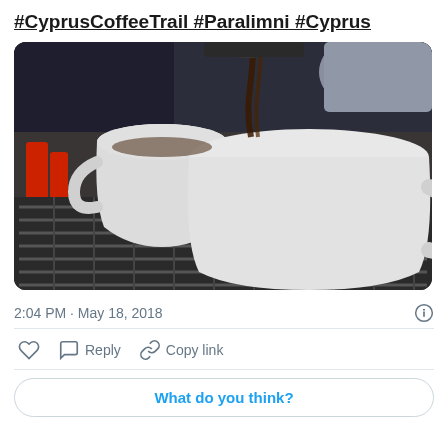#CyprusCoffeeTrail #Paralimni #Cyprus
[Figure (photo): Two white espresso cups on a metal grill drip tray of a coffee machine, with espresso being poured into them. Dark background. Red accessories visible to the left.]
2:04 PM · May 18, 2018
Reply  Copy link
What do you think?